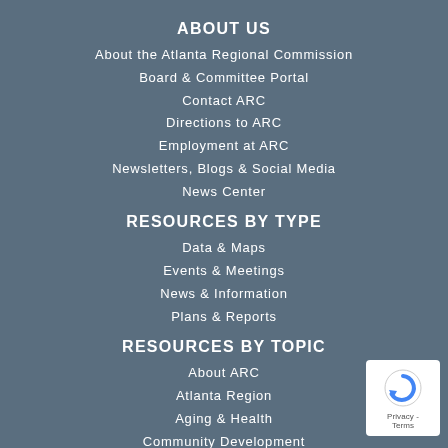ABOUT US
About the Atlanta Regional Commission
Board & Committee Portal
Contact ARC
Directions to ARC
Employment at ARC
Newsletters, Blogs & Social Media
News Center
RESOURCES BY TYPE
Data & Maps
Events & Meetings
News & Information
Plans & Reports
RESOURCES BY TOPIC
About ARC
Atlanta Region
Aging & Health
Community Development
Leadership & Engagement
Natural Resources